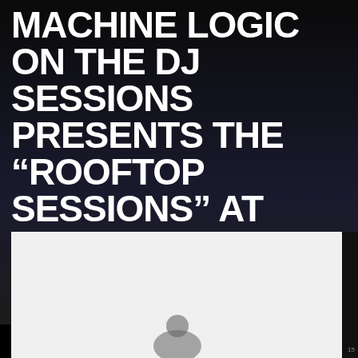MACHINE LOGIC ON THE DJ SESSIONS PRESENTS THE “ROOFTOP SESSIONS” AT EASTLAKE BAR AND GRILL 8/17/19
SAKEBOMB/MACHINE_LOGIC | AUGUST 17, 2019
[Figure (photo): A largely light gray/white image area, appears to be a photo partially loaded or very light, with a dark silhouette of a person visible at the bottom center.]